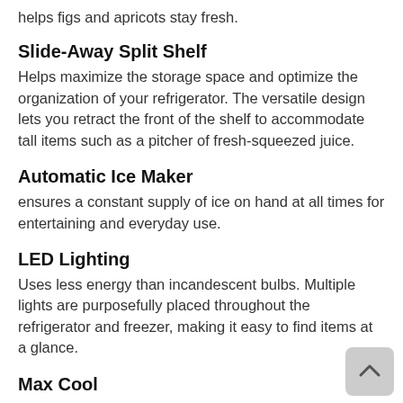helps figs and apricots stay fresh.
Slide-Away Split Shelf
Helps maximize the storage space and optimize the organization of your refrigerator. The versatile design lets you retract the front of the shelf to accommodate tall items such as a pitcher of fresh-squeezed juice.
Automatic Ice Maker
ensures a constant supply of ice on hand at all times for entertaining and everyday use.
LED Lighting
Uses less energy than incandescent bulbs. Multiple lights are purposefully placed throughout the refrigerator and freezer, making it easy to find items at a glance.
Max Cool
lets you use the touch of a button to drop refrigerator temperature to the coldest level, helping to chill groceries, beverages or ingredients for serving. After 24 hours, the temperature will automatically be